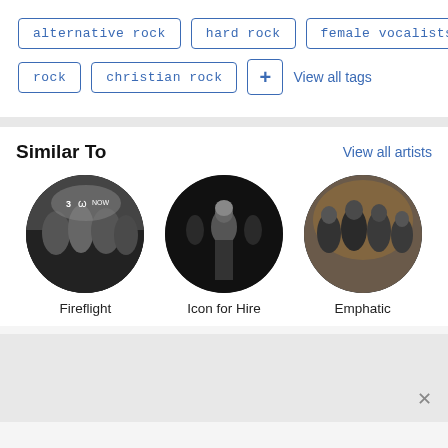alternative rock
hard rock
female vocalists
rock
christian rock
+ View all tags
Similar To
View all artists
[Figure (photo): Circular photo of band Fireflight, black and white group photo with logo in background]
Fireflight
[Figure (photo): Circular photo of band Icon for Hire, dark moody photo of band members]
Icon for Hire
[Figure (photo): Circular photo of band Emphatic, group of musicians in leather jackets]
Emphatic